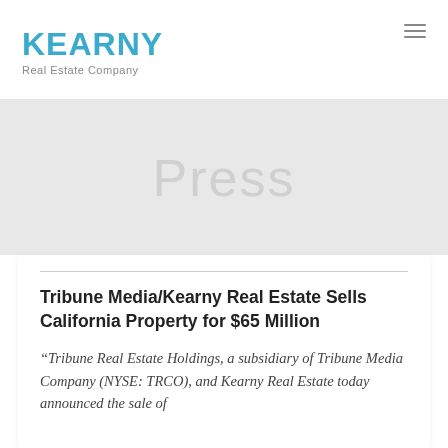KEARNY Real Estate Company
Press
Tribune Media/Kearny Real Estate Sells California Property for $65 Million
“Tribune Real Estate Holdings, a subsidiary of Tribune Media Company (NYSE: TRCO), and Kearny Real Estate today announced the sale of